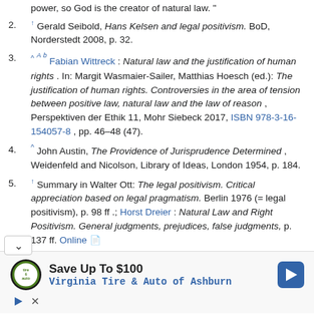power, so God is the creator of natural law."
2. ↑ Gerald Seibold, Hans Kelsen and legal positivism. BoD, Norderstedt 2008, p. 32.
3. ^ A b Fabian Wittreck : Natural law and the justification of human rights . In: Margit Wasmaier-Sailer, Matthias Hoesch (ed.): The justification of human rights. Controversies in the area of tension between positive law, natural law and the law of reason , Perspektiven der Ethik 11, Mohr Siebeck 2017, ISBN 978-3-16-154057-8 , pp. 46–48 (47).
4. ^ John Austin, The Providence of Jurisprudence Determined , Weidenfeld and Nicolson, Library of Ideas, London 1954, p. 184.
5. ↑ Summary in Walter Ott: The legal positivism. Critical appreciation based on legal pragmatism. Berlin 1976 (= legal positivism), p. 98 ff .; Horst Dreier : Natural Law and Right Positivism. General judgments, prejudices, false judgments, p. 137 ff. Online
[Figure (infographic): Advertisement for Virginia Tire & Auto of Ashburn with logo, arrow icon, play button, and close button.]